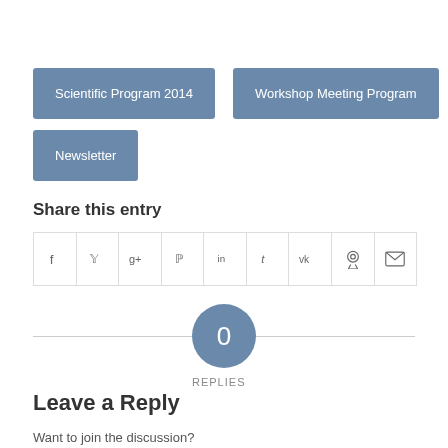Scientific Program 2014
Workshop Meeting Program
Newsletter
Share this entry
[Figure (other): Social share icons row: Facebook, Twitter, Google+, Pinterest, LinkedIn, Tumblr, VK, Reddit, Email]
0
REPLIES
Leave a Reply
Want to join the discussion?